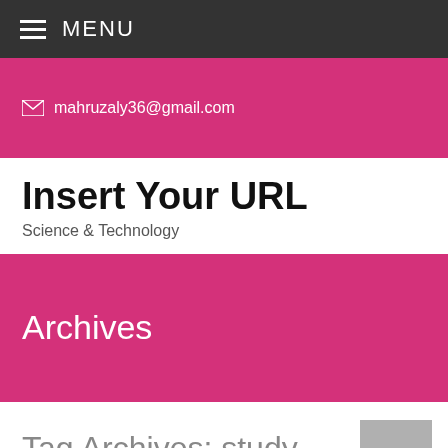☰ MENU
✉ mahruzaly36@gmail.com
Insert Your URL
Science & Technology
Archives
Tag Archives: study